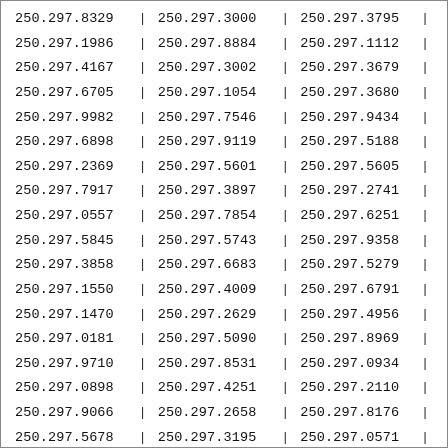| 250.297.8329 | | | 250.297.3000 | | | 250.297.3795 | | |
| 250.297.1986 | | | 250.297.8884 | | | 250.297.1112 | | |
| 250.297.4167 | | | 250.297.3002 | | | 250.297.3679 | | |
| 250.297.6705 | | | 250.297.1054 | | | 250.297.3680 | | |
| 250.297.9982 | | | 250.297.7546 | | | 250.297.9434 | | |
| 250.297.6898 | | | 250.297.9119 | | | 250.297.5188 | | |
| 250.297.2369 | | | 250.297.5601 | | | 250.297.5605 | | |
| 250.297.7917 | | | 250.297.3897 | | | 250.297.2741 | | |
| 250.297.0557 | | | 250.297.7854 | | | 250.297.6251 | | |
| 250.297.5845 | | | 250.297.5743 | | | 250.297.9358 | | |
| 250.297.3858 | | | 250.297.6683 | | | 250.297.5279 | | |
| 250.297.1550 | | | 250.297.4009 | | | 250.297.6791 | | |
| 250.297.1470 | | | 250.297.2629 | | | 250.297.4956 | | |
| 250.297.0181 | | | 250.297.5090 | | | 250.297.8969 | | |
| 250.297.9710 | | | 250.297.8531 | | | 250.297.0934 | | |
| 250.297.0898 | | | 250.297.4251 | | | 250.297.2110 | | |
| 250.297.9066 | | | 250.297.2658 | | | 250.297.8176 | | |
| 250.297.5678 | | | 250.297.3195 | | | 250.297.0571 | | |
| 250.297.3303 | | | 250.297.0017 | | | 250.297.8945 | | |